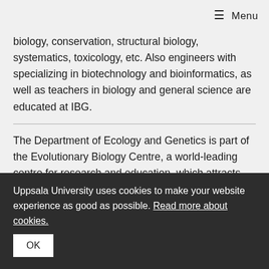≡ Menu
biology, conservation, structural biology, systematics, toxicology, etc. Also engineers with specializing in biotechnology and bioinformatics, as well as teachers in biology and general science are educated at IBG.
The Department of Ecology and Genetics is part of the Evolutionary Biology Centre, a world-leading centre for research and education, which attracts researchers and students from all over the world. If you are interested to continue as a researcher, you can read more about our our research och our post graduate education.
Uppsala University uses cookies to make your website experience as good as possible. Read more about cookies.